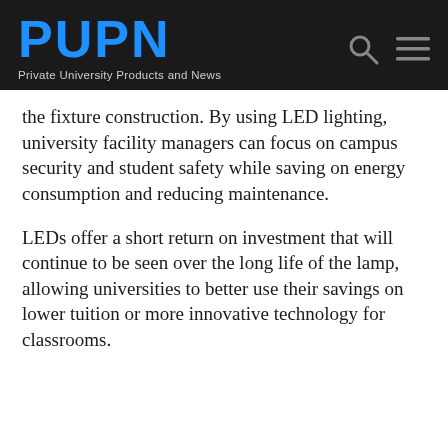PUPN — Private University Products and News
the fixture construction. By using LED lighting, university facility managers can focus on campus security and student safety while saving on energy consumption and reducing maintenance.
LEDs offer a short return on investment that will continue to be seen over the long life of the lamp, allowing universities to better use their savings on lower tuition or more innovative technology for classrooms.